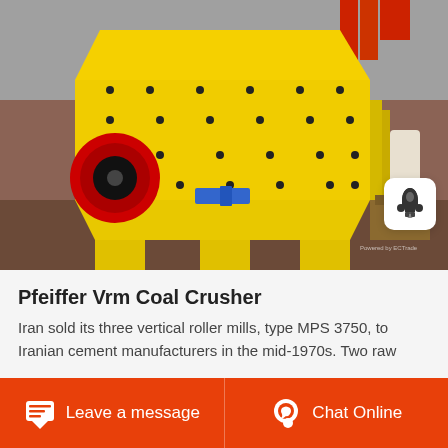[Figure (photo): Large yellow industrial impact crusher / coal crusher machine photographed in a warehouse/factory setting. The machine is bright yellow with black bolts, featuring a large red and black circular flywheel on the left side and a blue component. The background shows a factory environment with red steel structure visible.]
Pfeiffer Vrm Coal Crusher
Iran sold its three vertical roller mills, type MPS 3750, to Iranian cement manufacturers in the mid-1970s. Two raw
Leave a message   Chat Online